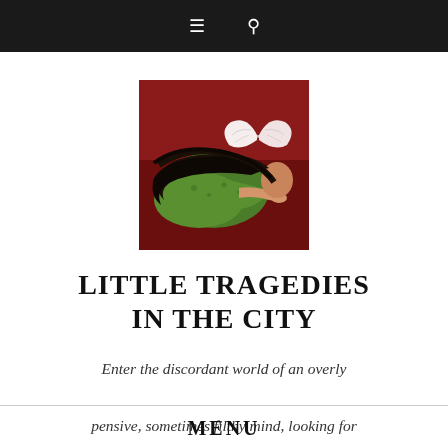≡  🔍
[Figure (illustration): A painting of a woman in a green dress lying down with dark flowing hair and a white heart-shaped dragonfly wing, set against a red background.]
LITTLE TRAGEDIES IN THE CITY
Enter the discordant world of an overly pensive, sometimes filthy mind, looking for love in all the wrong places
MENU